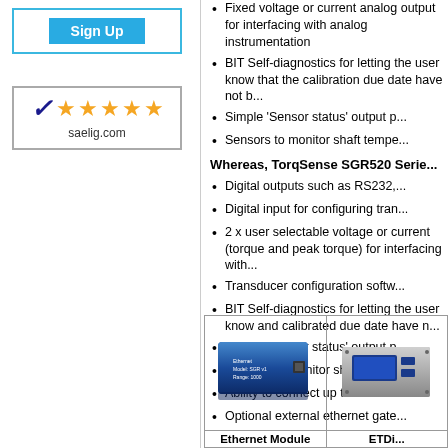[Figure (other): Sign Up button inside a blue-bordered box]
[Figure (other): Five-star rating badge showing checkmark logo and 5 orange stars with saelig.com text]
Fixed voltage or current analog output for interfacing with analog instrumentation
BIT Self-diagnostics for letting the user know that the calibration due date have not b...
Simple 'Sensor status' output p...
Sensors to monitor shaft tempe...
Whereas, TorqSense SGR520 Serie...
Digital outputs such as RS232,...
Digital input for configuring tran...
2 x user selectable voltage or current (torque and peak torque) for interfacing with...
Transducer configuration softw...
BIT Self-diagnostics for letting the user know and calibrated due date have n...
Simple 'Sensor status' output p...
Sensors to monitor shaft tempe...
Ability to connect up to 10 tran...
Optional external ethernet gate...
[Figure (photo): Photo of Ethernet Module - a blue rectangular device]
Ethernet Module
[Figure (photo): Photo of ETDi... - a rack-mounted display unit]
ETDi...